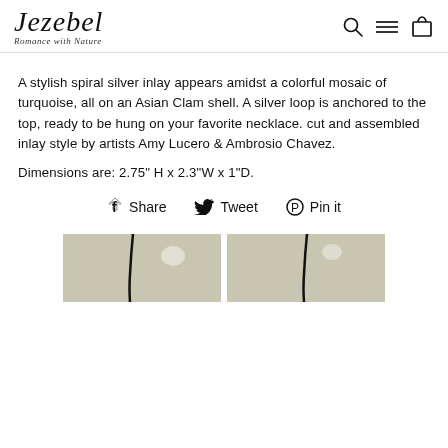Jezebel Romance with Nature — navigation header with logo, search, menu, and cart icons
A stylish spiral silver inlay appears amidst a colorful mosaic of turquoise, all on an Asian Clam shell. A silver loop is anchored to the top, ready to be hung on your favorite necklace. cut and assembled inlay style by artists Amy Lucero & Ambrosio Chavez.
Dimensions are: 2.75" H x 2.3"W x 1"D.
Share  Tweet  Pin it
[Figure (photo): Two side-by-side product photos showing jewelry pieces with dark cord on a light background]